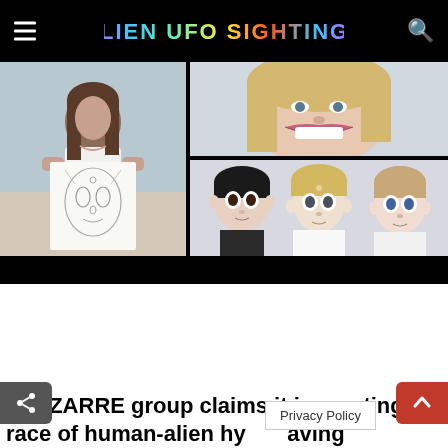ALIEN UFO SIGHTINGS
[Figure (photo): Collage of images: left shows a woman at a beach holding a pencil sketch of an alien face; top right shows a smiling blonde woman; bottom right shows three children with unusual features resembling hybrid depictions.]
A BIZARRE group claims it is creating a race of human-alien hybrids by having with extraterrestrials w take